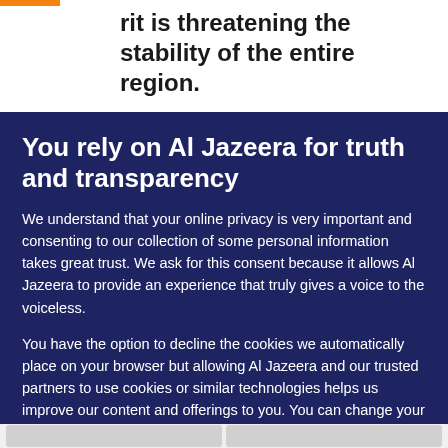rit is threatening the stability of the entire region.
You rely on Al Jazeera for truth and transparency
We understand that your online privacy is very important and consenting to our collection of some personal information takes great trust. We ask for this consent because it allows Al Jazeera to provide an experience that truly gives a voice to the voiceless.
You have the option to decline the cookies we automatically place on your browser but allowing Al Jazeera and our trusted partners to use cookies or similar technologies helps us improve our content and offerings to you. You can change your privacy preferences at any time by selecting 'Cookie preferences' at the bottom of your screen. To learn more, please view our Cookie Policy.